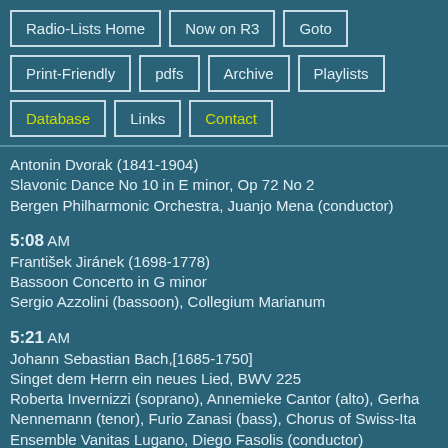Radio-Lists Home
Now on R3
Goto
Print-Friendly
pdfs
Archive
Playlists
Database
Links
Contact
Antonin Dvorak (1841-1904)
Slavonic Dance No 10 in E minor, Op 72 No 2
Bergen Philharmonic Orchestra, Juanjo Mena (conductor)
5:08 AM
František Jiránek (1698-1778)
Bassoon Concerto in G minor
Sergio Azzolini (bassoon), Collegium Marianum
5:21 AM
Johann Sebastian Bach,[1685-1750]
Singet dem Herrn ein neues Lied, BWV 225
Roberta Invernizzi (soprano), Annemieke Cantor (alto), Gerha Nennemann (tenor), Furio Zanasi (bass), Chorus of Swiss-Ita Ensemble Vanitas Lugano, Diego Fasolis (conductor)